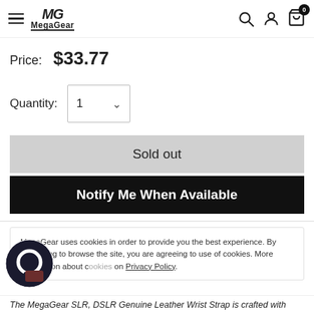[Figure (logo): MegaGear logo with hamburger menu, search, account, and cart icons in navigation bar]
Price:  $33.77
Quantity:  1
Sold out
Notify Me When Available
MegaGear uses cookies in order to provide you the best experience. By continuing to browse the site, you are agreeing to use of cookies. More information about cookies on Privacy Policy.
The MegaGear SLR, DSLR Genuine Leather Wrist Strap is crafted with